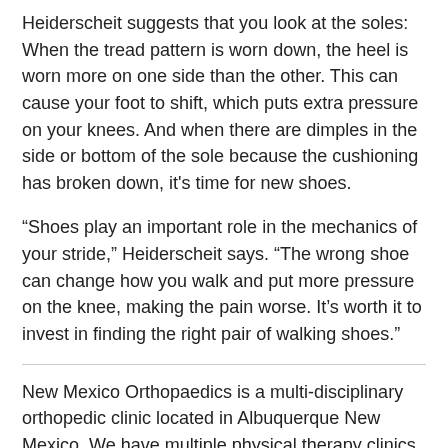Heiderscheit suggests that you look at the soles: When the tread pattern is worn down, the heel is worn more on one side than the other. This can cause your foot to shift, which puts extra pressure on your knees. And when there are dimples in the side or bottom of the sole because the cushioning has broken down, it's time for new shoes.
“Shoes play an important role in the mechanics of your stride,” Heiderscheit says. “The wrong shoe can change how you walk and put more pressure on the knee, making the pain worse. It’s worth it to invest in finding the right pair of walking shoes.”
New Mexico Orthopaedics is a multi-disciplinary orthopedic clinic located in Albuquerque New Mexico. We have multiple physical therapy clinics located throughout the Albuquerque metro area.